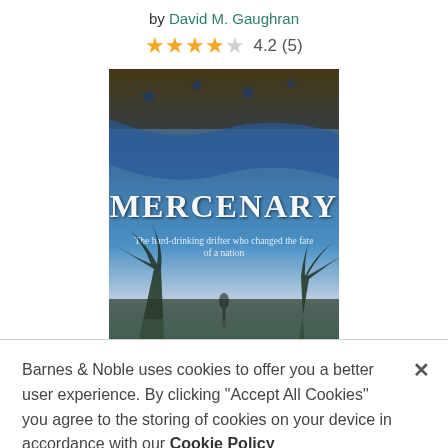by David M. Gaughran
4.2 (5)
[Figure (illustration): Book cover for 'Mercenary' by David M. Gaughran showing a dramatic scene with stars on a flag background, blue tones, palm trees, and title text 'MERCENARY' with subtitle 'The hard-drinking drifter who changed the fate of a nation']
Barnes & Noble uses cookies to offer you a better user experience. By clicking "Accept All Cookies" you agree to the storing of cookies on your device in accordance with our Cookie Policy
Manage Preferences
Accept All Cookies